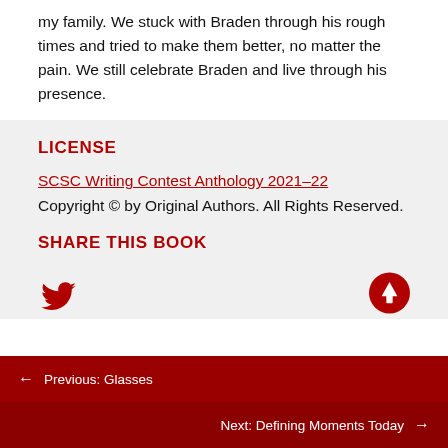my family. We stuck with Braden through his rough times and tried to make them better, no matter the pain. We still celebrate Braden and live through his presence.
LICENSE
SCSC Writing Contest Anthology 2021–22
Copyright © by Original Authors. All Rights Reserved.
SHARE THIS BOOK
[Figure (illustration): Twitter bird icon (red) and an upward arrow icon in a red circle]
← Previous: Glasses
Next: Defining Moments Today →